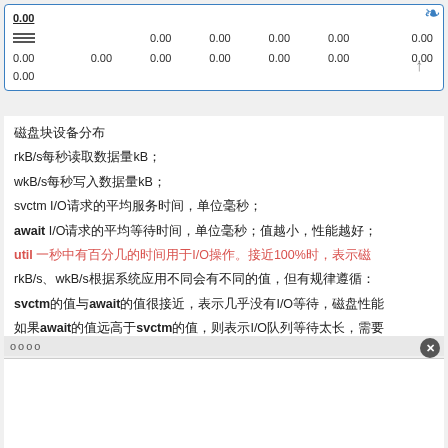| 0.00 |  | 0.00 | 0.00 | 0.00 | 0.00 | 0.00 |
| --- | --- | --- | --- | --- | --- | --- |
| ≡ |  | 0.00 | 0.00 | 0.00 | 0.00 | 0.00 |
| 0.00 | 0.00 | 0.00 | 0.00 | 0.00 | 0.00 | 0.00 |
| 0.00 |  |  |  |  |  |  |
磁盘块设备分布
rkB/s每秒读取数据量kB；
wkB/s每秒写入数据量kB；
svctm I/O请求的平均服务时间，单位毫秒；
await I/O请求的平均等待时间，单位毫秒；值越小，性能越好；
util 一秒中有百分几的时间用于I/O操作。接近100%时，表示磁
rkB/s、wkB/s根据系统应用不同会有不同的值，但有规律遵循：
svctm的值与await的值很接近，表示几乎没有I/O等待，磁盘性能
如果await的值远高于svctm的值，则表示I/O队列等待太长，需要
oooo